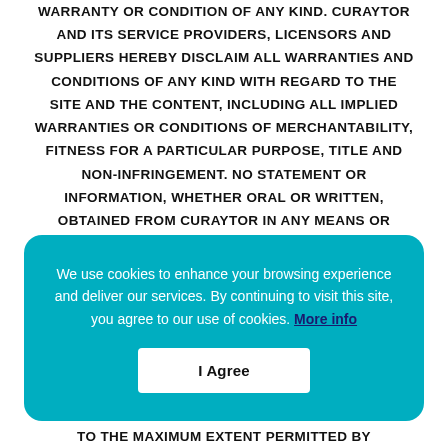WARRANTY OR CONDITION OF ANY KIND. CURAYTOR AND ITS SERVICE PROVIDERS, LICENSORS AND SUPPLIERS HEREBY DISCLAIM ALL WARRANTIES AND CONDITIONS OF ANY KIND WITH REGARD TO THE SITE AND THE CONTENT, INCLUDING ALL IMPLIED WARRANTIES OR CONDITIONS OF MERCHANTABILITY, FITNESS FOR A PARTICULAR PURPOSE, TITLE AND NON-INFRINGEMENT. NO STATEMENT OR INFORMATION, WHETHER ORAL OR WRITTEN, OBTAINED FROM CURAYTOR IN ANY MEANS OR
We use cookies to enhance your browsing experience and deliver our services. By continuing to visit this site, you agree to our use of cookies. More info
I Agree
TO THE MAXIMUM EXTENT PERMITTED BY